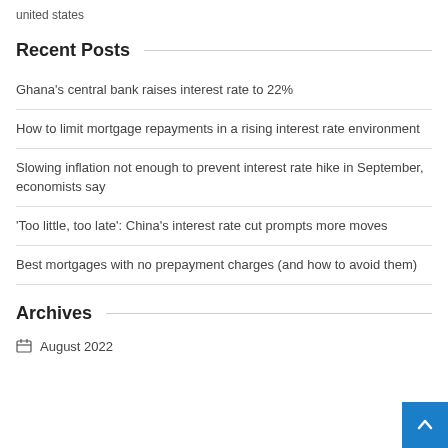united states
Recent Posts
Ghana's central bank raises interest rate to 22%
How to limit mortgage repayments in a rising interest rate environment
Slowing inflation not enough to prevent interest rate hike in September, economists say
'Too little, too late': China's interest rate cut prompts more moves
Best mortgages with no prepayment charges (and how to avoid them)
Archives
August 2022